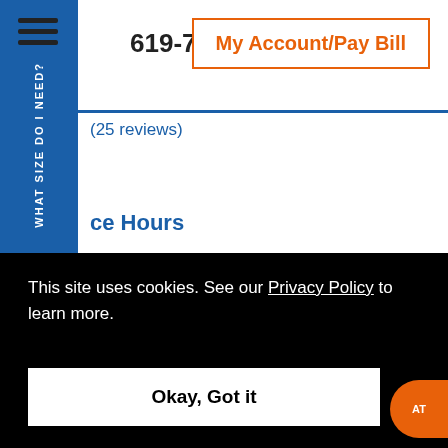619-736-2230  My Account/Pay Bill
(25 reviews)
ce Hours
nday - Friday:  9:00am - 6:00pm
urday - Sunday:  9:00am - 5:00pm
This site uses cookies. See our Privacy Policy to learn more.
Okay, Got it